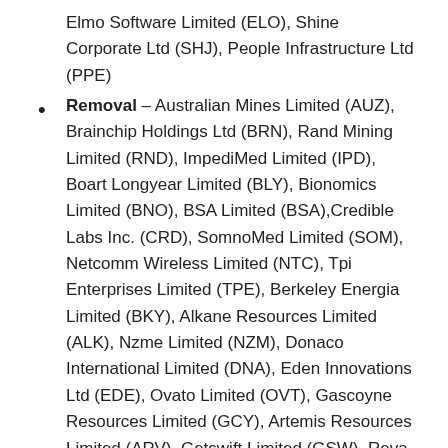Elmo Software Limited (ELO), Shine Corporate Ltd (SHJ), People Infrastructure Ltd (PPE)
Removal – Australian Mines Limited (AUZ), Brainchip Holdings Ltd (BRN), Rand Mining Limited (RND), ImpediMed Limited (IPD), Boart Longyear Limited (BLY), Bionomics Limited (BNO), BSA Limited (BSA),Credible Labs Inc. (CRD), SomnoMed Limited (SOM), Netcomm Wireless Limited (NTC), Tpi Enterprises Limited (TPE), Berkeley Energia Limited (BKY), Alkane Resources Limited (ALK), Nzme Limited (NZM), Donaco International Limited (DNA), Eden Innovations Ltd (EDE), Ovato Limited (OVT), Gascoyne Resources Limited (GCY), Artemis Resources Limited (ARV), Getswift Limited (GSW), Reva Medical, Inc (RVA), Blue Sky Alternative Investments Limited (BLA), Adacel